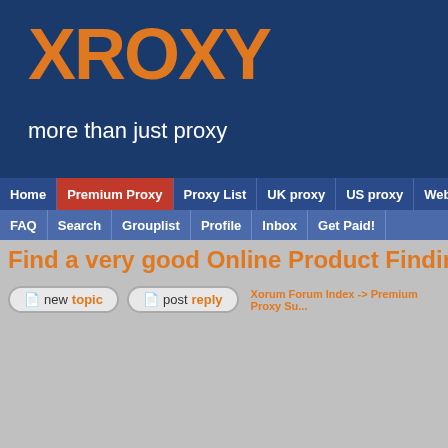[Figure (logo): XROXY logo with orange bold text on dark blue background, tagline 'more than just proxy' in white]
Home | Premium Proxy | Proxy List | UK proxy | US proxy | Web Pro | FAQ | Search | Grouplist | Profile | Inbox | Get Paid!
Find a very good Online Product Finding P...
new topic   post reply   Xorum Forum Index -> Premium Proxy Su...
| Author | Message |
| --- | --- |
| jvpluuqbgjtladh
Valued Contributor
Joined: 02 Mar 2022
Total posts: 413
Gender: Unknown | Posted: Sun May 22, 2022 1:27 pm   Post subject: Find a ve...
Lots of flourishing potential traders find a signific of d... the long term advancement of their total businesses. ... best practical strategies to make the most of. This is ... marketing when acquiring the ideal internet supplem... successful. Fortuitously, as being the website is grow... procedures appeared, plus it is easy to uncover a pe... |